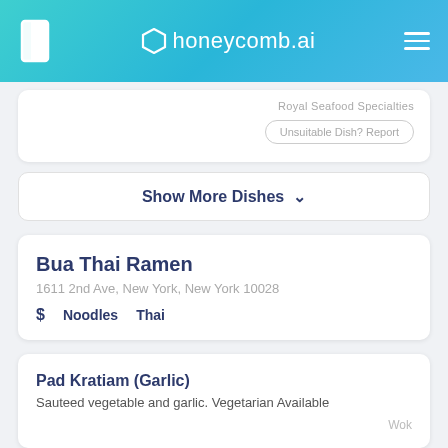honeycomb.ai
Royal Seafood Specialties
Unsuitable Dish? Report
Show More Dishes ❯
Bua Thai Ramen
1611 2nd Ave, New York, New York 10028
$ Noodles Thai
Pad Kratiam (Garlic)
Sauteed vegetable and garlic. Vegetarian Available
Wok